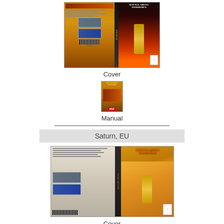[Figure (photo): Sega Saturn game cover for Battle Arena Toshinden - showing front and back cover with orange/gold game art and fire imagery]
Cover
[Figure (photo): Small thumbnail of Battle Arena Toshinden manual with PDF badge overlay]
Manual
Saturn, EU
[Figure (photo): European Sega Saturn game cover for Battle Arena Toshinden - showing front and back cover with characters and gold/orange art]
Cover